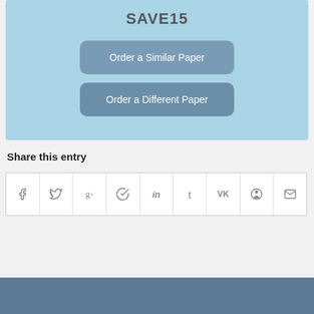[Figure (other): Light blue promotional box with coupon code SAVE15 and two buttons: Order a Similar Paper, Order a Different Paper]
Share this entry
[Figure (infographic): Row of social media share icons: Facebook, Twitter, Google+, Pinterest, LinkedIn, Tumblr, VK, Reddit, Email]
[Figure (other): Dark blue-grey footer bar at the bottom of the page]